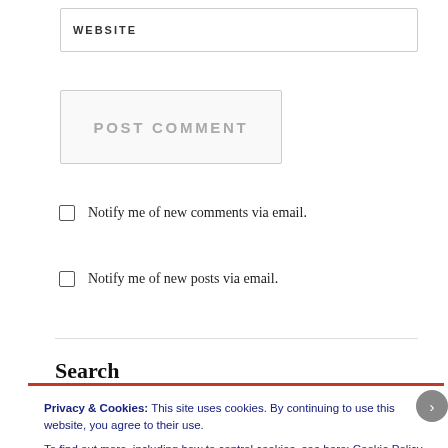WEBSITE
POST COMMENT
Notify me of new comments via email.
Notify me of new posts via email.
Search
Privacy & Cookies: This site uses cookies. By continuing to use this website, you agree to their use.
To find out more, including how to control cookies, see here: Cookie Policy
Close and accept